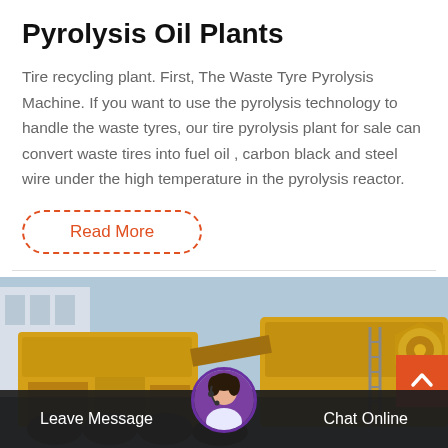Pyrolysis Oil Plants
Tire recycling plant. First, The Waste Tyre Pyrolysis Machine. If you want to use the pyrolysis technology to handle the waste tyres, our tire pyrolysis plant for sale can convert waste tires into fuel oil , carbon black and steel wire under the high temperature in the pyrolysis reactor.
Read More
[Figure (photo): Industrial pyrolysis plant machinery — large yellow industrial machines and cylindrical metal components at a processing facility.]
Leave Message
Chat Online